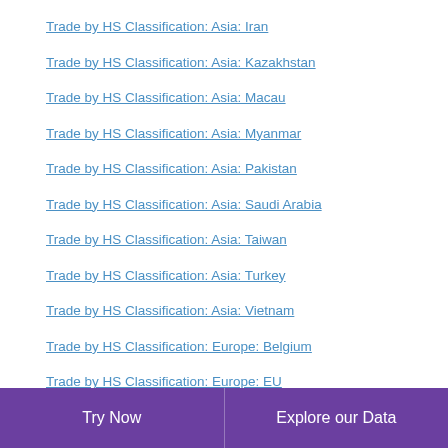Trade by HS Classification: Asia: Iran
Trade by HS Classification: Asia: Kazakhstan
Trade by HS Classification: Asia: Macau
Trade by HS Classification: Asia: Myanmar
Trade by HS Classification: Asia: Pakistan
Trade by HS Classification: Asia: Saudi Arabia
Trade by HS Classification: Asia: Taiwan
Trade by HS Classification: Asia: Turkey
Trade by HS Classification: Asia: Vietnam
Trade by HS Classification: Europe: Belgium
Trade by HS Classification: Europe: EU
Trade by HS Classification: Europe: France
Trade by HS Classification: Europe: Italy
Trade by HS Classification: Europe: Poland
Try Now   Explore our Data